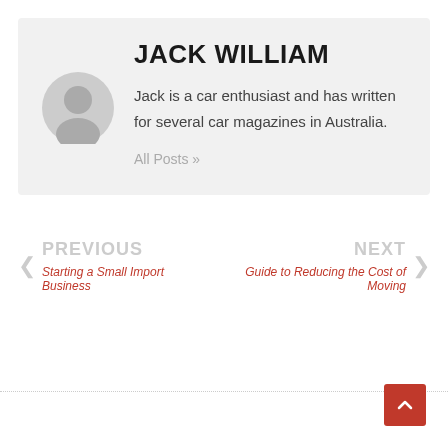JACK WILLIAM
Jack is a car enthusiast and has written for several car magazines in Australia.
All Posts »
PREVIOUS
Starting a Small Import Business
NEXT
Guide to Reducing the Cost of Moving